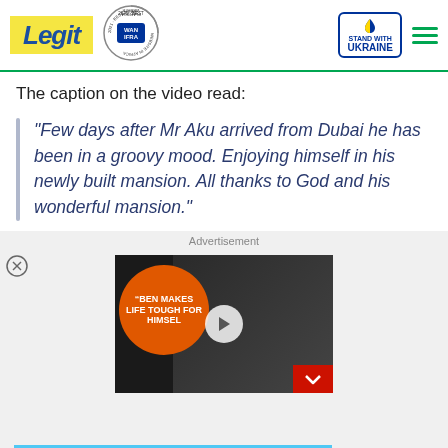[Figure (logo): Legit.ng website header with Legit logo, WAN-IFRA 2021 Best News Website in Africa badge, Stand With Ukraine badge, and hamburger menu]
The caption on the video read:
"Few days after Mr Aku arrived from Dubai he has been in a groovy mood. Enjoying himself in his newly built mansion. All thanks to God and his wonderful mansion."
Advertisement
[Figure (screenshot): Video advertisement thumbnail showing two people with text 'BEN MAKES LIFE TOUGH FOR HIMSELF' on an orange circle, with play button and minimize button]
[Figure (illustration): BitLife banner advertisement: NOW WITH GOD MODE]